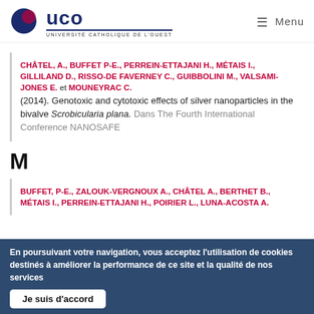UCO — UNIVERSITÉ CATHOLIQUE DE L'OUEST | Menu
CHÂTEL, A., BUFFET P-E., PERREIN-ETTAJANI H., MÉTAIS I., GILLILAND D., RISSO-DE FAVERNEY C., GUIBBOLINI M., VALSAMI-JONES E. et MOUNEYRAC C. (2014). Genotoxic and cytotoxic effects of silver nanoparticles in the bivalve Scrobicularia plana. Dans The Fourth International Conference NANOSAFE
M
BUFFET, P-E., ZALOUK-VERGNOUX A., CHÂTEL A., BERTHET B., MÉTAIS I., PERREIN-ETTAJANI H., POIRIER L., LUNA-ACOSTA A.
En poursuivant votre navigation, vous acceptez l'utilisation de cookies destinés à améliorer la performance de ce site et la qualité de nos services
Je suis d'accord